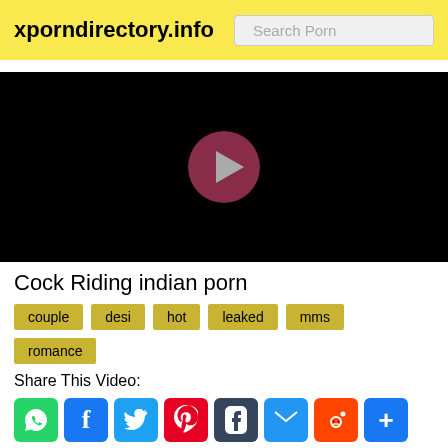xporndirectory.info
[Figure (screenshot): Black video player with a dark red circular play button in the center]
Cock Riding indian porn
couple
desi
hot
leaked
mms
romance
Share This Video: